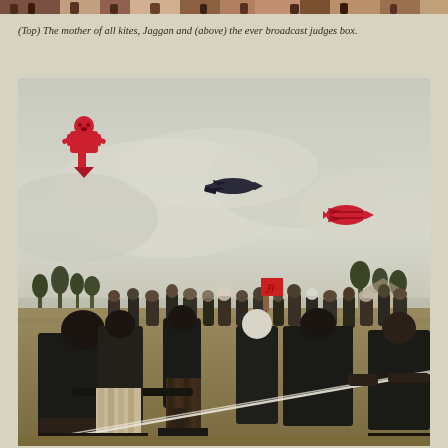[Figure (photo): Top strip showing a crowd scene at a kite festival, partially visible at the very top of the page]
(Top) The mother of all kites, Jaggan and (above) the ever broadcast judges box.
[Figure (photo): A large outdoor kite festival scene. A crowd of people dressed mostly in black traditional Balinese attire stand on a grassy field holding kite strings. Several colorful kites shaped like traditional Balinese figures can be seen flying in the hazy sky above the crowd. Trees and structures are visible on the horizon.]